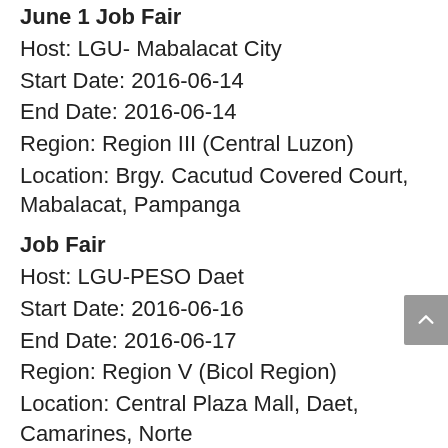June 1 Job Fair
Host: LGU- Mabalacat City
Start Date: 2016-06-14
End Date: 2016-06-14
Region: Region III (Central Luzon)
Location: Brgy. Cacutud Covered Court, Mabalacat, Pampanga
Job Fair
Host: LGU-PESO Daet
Start Date: 2016-06-16
End Date: 2016-06-17
Region: Region V (Bicol Region)
Location: Central Plaza Mall, Daet, Camarines, Norte
Yagi-Yagi Festival Job Fair 2016
Host: LGU - Rosario, Agusan Del Sur